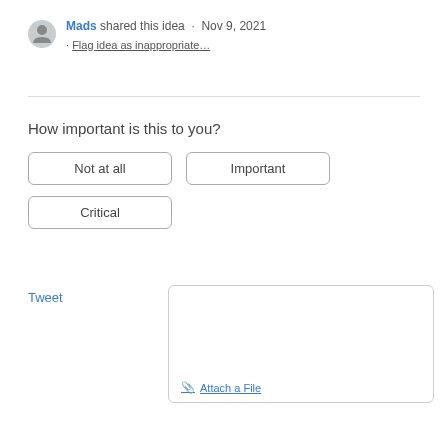Mads shared this idea · Nov 9, 2021 · Flag idea as inappropriate…
How important is this to you?
Not at all
Important
Critical
Tweet
Attach a File